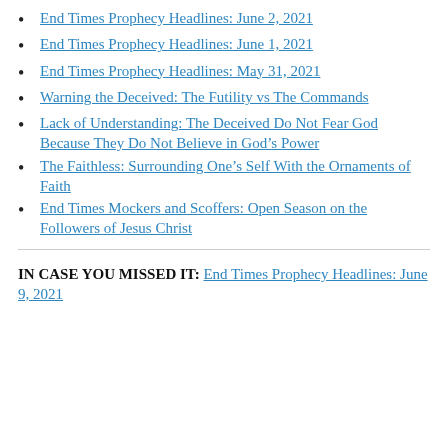End Times Prophecy Headlines: June 2, 2021
End Times Prophecy Headlines: June 1, 2021
End Times Prophecy Headlines: May 31, 2021
Warning the Deceived: The Futility vs The Commands
Lack of Understanding: The Deceived Do Not Fear God Because They Do Not Believe in God’s Power
The Faithless: Surrounding One’s Self With the Ornaments of Faith
End Times Mockers and Scoffers: Open Season on the Followers of Jesus Christ
IN CASE YOU MISSED IT: End Times Prophecy Headlines: June 9, 2021